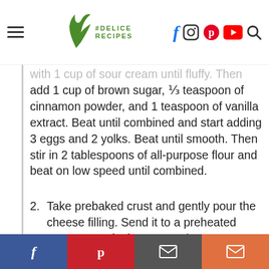Delice Recipes — header with social icons
with 1 cup of sour cream until fluffy. Then add 1 cup of brown sugar, ⅓ teaspoon of cinnamon powder, and 1 teaspoon of vanilla extract. Beat until combined and start adding 3 eggs and 2 yolks. Beat until smooth. Then stir in 2 tablespoons of all-purpose flour and beat on low speed until combined.
2. Take prebaked crust and gently pour the cheese filling. Send it to a preheated oven at 320 °F for 40-50 minutes.
For the Pecan Pie Topping:
1. Till the cheesecake is cooling, prepare the
Social share bar: Facebook, Pinterest, Email, Email